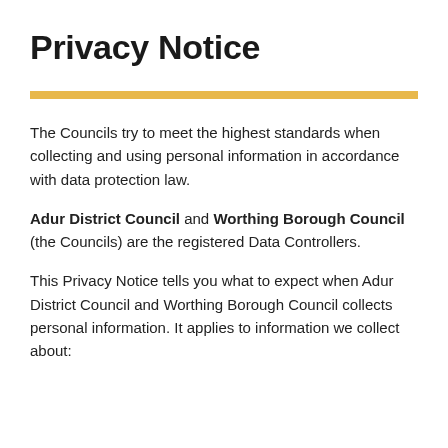Privacy Notice
The Councils try to meet the highest standards when collecting and using personal information in accordance with data protection law.
Adur District Council and Worthing Borough Council (the Councils) are the registered Data Controllers.
This Privacy Notice tells you what to expect when Adur District Council and Worthing Borough Council collects personal information. It applies to information we collect about: